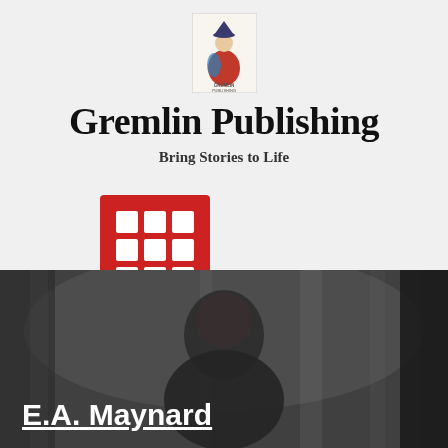[Figure (logo): Gremlin Publishing logo — a figure in red and blue robes on a light background with 'GREMLIN PUBLISHING' text]
Gremlin Publishing
Bring Stories to Life
[Figure (other): Red square icon with a 3x3 grid of white squares (menu/apps icon)]
[Figure (photo): Black and white photo of a man (E.A. Maynard) with dark trees and misty forest in the background, overlaid with the author name 'E.A. Maynard' in white bold underlined text]